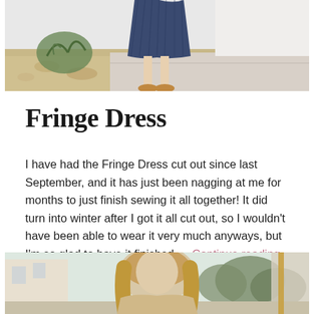[Figure (photo): Partial photo of a person wearing a blue pleated dress and tan sandals, standing on a sidewalk with gravel and a plant in the background. Only the lower portion of the body is visible.]
Fringe Dress
I have had the Fringe Dress cut out since last September, and it has just been nagging at me for months to just finish sewing it all together! It did turn into winter after I got it all cut out, so I wouldn't have been able to wear it very much anyways, but I'm so glad to have it finished … Continue reading
[Figure (photo): Partial photo of a person with long blonde hair standing outdoors, with buildings and trees visible in the background.]